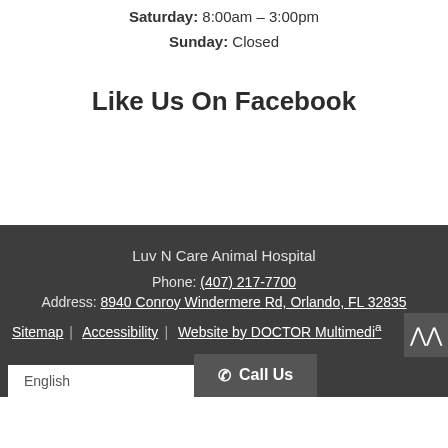Saturday: 8:00am – 3:00pm
Sunday: Closed
Like Us On Facebook
Luv N Care Animal Hospital
Phone: (407) 217-7700
Address: 8940 Conroy Windermere Rd, Orlando, FL 32835
Sitemap | Accessibility | Website by DOCTOR Multimedi...
English | Call Us